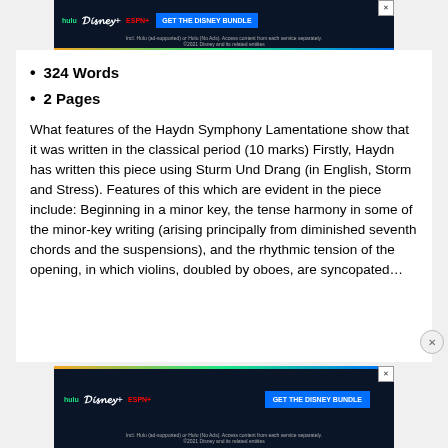[Figure (screenshot): Hulu Disney+ ESPN+ GET THE DISNEY BUNDLE advertisement banner at top]
324 Words
2 Pages
What features of the Haydn Symphony Lamentatione show that it was written in the classical period (10 marks) Firstly, Haydn has written this piece using Sturm Und Drang (in English, Storm and Stress). Features of this which are evident in the piece include: Beginning in a minor key, the tense harmony in some of the minor-key writing (arising principally from diminished seventh chords and the suspensions), and the rhythmic tension of the opening, in which violins, doubled by oboes, are syncopated…
[Figure (screenshot): Hulu Disney+ ESPN+ GET THE DISNEY BUNDLE advertisement banner at bottom]